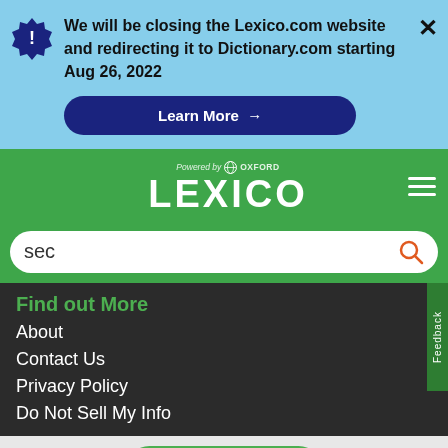We will be closing the Lexico.com website and redirecting it to Dictionary.com starting Aug 26, 2022
Learn More →
[Figure (logo): Lexico powered by Oxford logo on green background with hamburger menu]
sec
Find out More
About
Contact Us
Privacy Policy
Do Not Sell My Info
NEXT →
on Newz Online